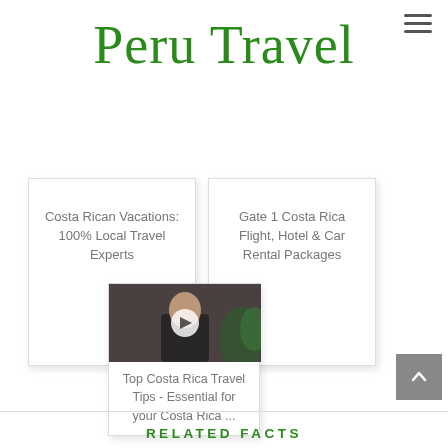Peru Travel
Costa Rican Vacations: 100% Local Travel Experts
Gate 1 Costa Rica Flight, Hotel & Car Rental Packages
[Figure (screenshot): Video thumbnail showing a person with a play button overlay]
Top Costa Rica Travel Tips - Essential for your Costa Rica ...
RELATED FACTS